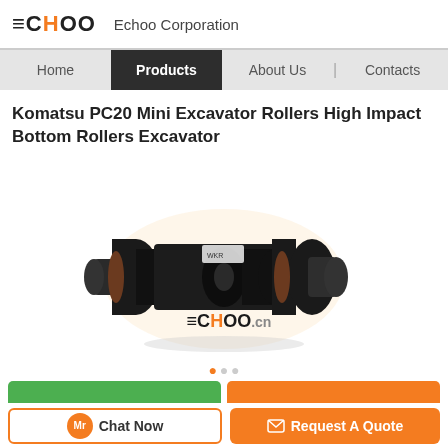ECHOO  Echoo Corporation
Home | Products | About Us | Contacts
Komatsu PC20 Mini Excavator Rollers High Impact Bottom Rollers Excavator
[Figure (photo): Black Komatsu PC20 mini excavator bottom roller / track roller component, shown with ECHOO.cn watermark]
Chat Now  Request A Quote